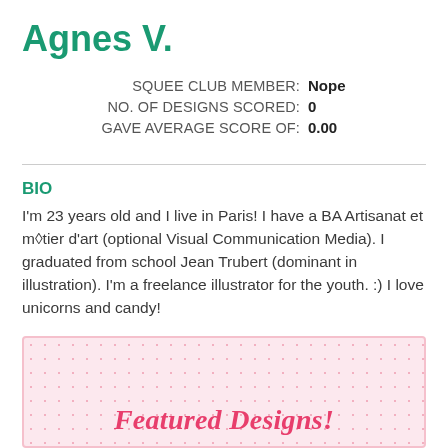Agnes V.
SQUEE CLUB MEMBER: Nope
NO. OF DESIGNS SCORED: 0
GAVE AVERAGE SCORE OF: 0.00
BIO
I'm 23 years old and I live in Paris! I have a BA Artisanat et m◈tier d'art (optional Visual Communication Media). I graduated from school Jean Trubert (dominant in illustration). I'm a freelance illustrator for the youth. :) I love unicorns and candy!
Featured Designs!